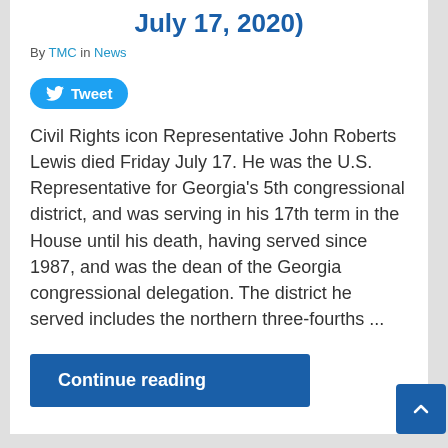July 17, 2020)
By TMC in News
[Figure (other): Twitter Tweet button (blue pill-shaped button with bird icon and 'Tweet' text)]
Civil Rights icon Representative John Roberts Lewis died Friday July 17. He was the U.S. Representative for Georgia's 5th congressional district, and was serving in his 17th term in the House until his death, having served since 1987, and was the dean of the Georgia congressional delegation. The district he served includes the northern three-fourths ...
Continue reading
civil rights, In Memorium, John Lewis, News, Obituaries, TMC News